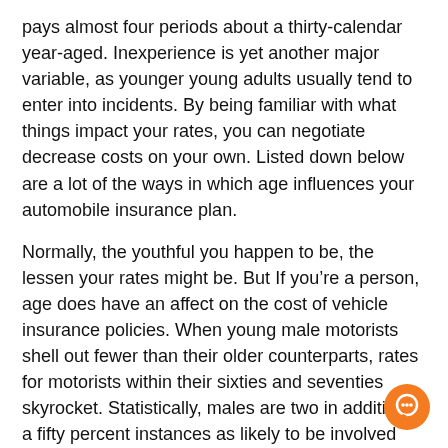pays almost four periods about a thirty-calendar year-aged. Inexperience is yet another major variable, as younger young adults usually tend to enter into incidents. By being familiar with what things impact your rates, you can negotiate decrease costs on your own. Listed down below are a lot of the ways in which age influences your automobile insurance plan.
Normally, the youthful you happen to be, the lessen your rates might be. But If you’re a person, age does have an affect on the cost of vehicle insurance policies. When young male motorists shell out fewer than their older counterparts, rates for motorists within their sixties and seventies skyrocket. Statistically, males are two in addition to a fifty percent instances as likely to be involved with a vehicle crash than Women of all ages, And so the gender gap decreases with age.(coverage options)(homeowners coverage)
Gender influences rates